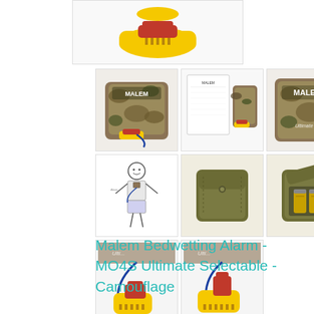[Figure (photo): Main product image showing yellow Malem bedwetting alarm sensor clip with blue wire on white/yellow background]
[Figure (photo): Thumbnail 1: Malem MO4S device in camouflage pattern pouch with sensor]
[Figure (photo): Thumbnail 2: Malem device with instruction sheet]
[Figure (photo): Thumbnail 3: Malem MO4S camouflage pattern front view]
[Figure (illustration): Thumbnail 4: Diagram of child wearing the alarm device with connector at chest]
[Figure (photo): Thumbnail 5: Olive/khaki colored alarm unit closed, front view]
[Figure (photo): Thumbnail 6: Olive/khaki alarm unit open showing battery compartment]
[Figure (photo): Thumbnail 7: Close-up of yellow sensor clip with red flag and blue wire, side angle]
[Figure (photo): Thumbnail 8: Close-up of yellow sensor clip with red flag, front angle]
Malem Bedwetting Alarm - MO4S Ultimate Selectable - Camouflage